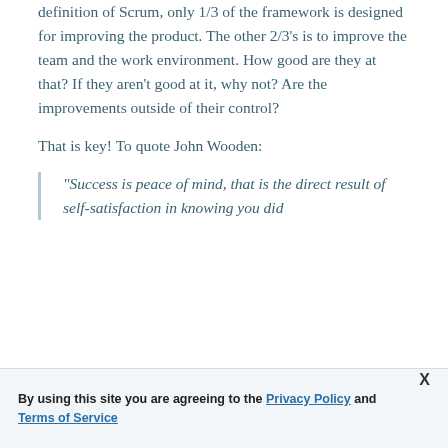definition of Scrum, only 1/3 of the framework is designed for improving the product. The other 2/3's is to improve the team and the work environment. How good are they at that? If they aren't good at it, why not? Are the improvements outside of their control?
That is key! To quote John Wooden:
"Success is peace of mind, that is the direct result of self-satisfaction in knowing you did
By using this site you are agreeing to the Privacy Policy and Terms of Service